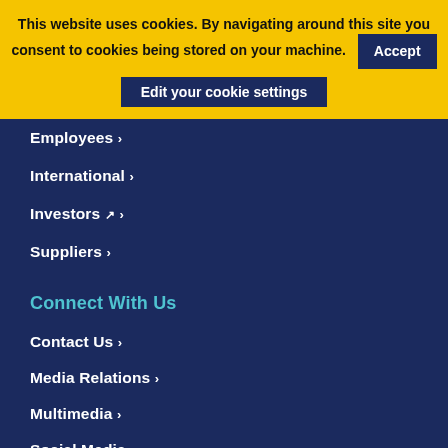This website uses cookies. By navigating around this site you consent to cookies being stored on your machine. Accept
Edit your cookie settings
Employees ›
International ›
Investors ↗ ›
Suppliers ›
Connect With Us
Contact Us ›
Media Relations ›
Multimedia ›
Social Media ›
Vulnerability Disclosures ›
About Us